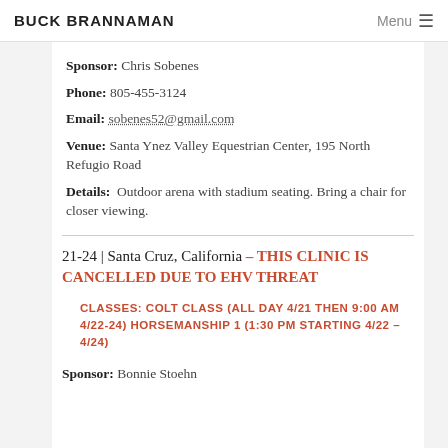BUCK BRANNAMAN | Menu
Sponsor: Chris Sobenes
Phone: 805-455-3124
Email: sobenes52@gmail.com
Venue: Santa Ynez Valley Equestrian Center, 195 North Refugio Road
Details: Outdoor arena with stadium seating. Bring a chair for closer viewing.
21-24 | Santa Cruz, California – THIS CLINIC IS CANCELLED DUE TO EHV THREAT
CLASSES: COLT CLASS (ALL DAY 4/21 THEN 9:00 AM 4/22-24) HORSEMANSHIP 1 (1:30 PM STARTING 4/22 - 4/24)
Sponsor: Bonnie Stoehn